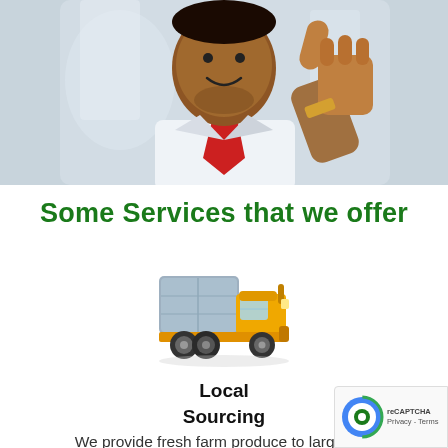[Figure (photo): A man in a white shirt and red tie giving a thumbs up gesture, smiling, upper body visible against a light background.]
Some Services that we offer
[Figure (illustration): A yellow and grey delivery truck icon/emoji illustration.]
Local Sourcing
We provide fresh farm produce to large and medium sized businesses across the country